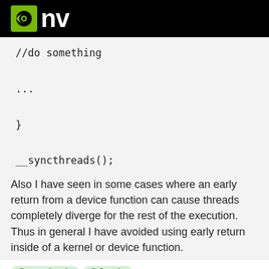nv (NVIDIA logo)
//do something

...

}

__syncthreads();
Also I have seen in some cases where an early return from a device function can cause threads completely diverge for the rest of the execution. Thus in general I have avoided using early return inside of a kernel or device function.
@pasoleatis @Justin ,
Right. Returning from a thread function early, serializes other threads in the same block.
An if/while divergence of one thread resulting in serializing other threads in the same block sounds normal, but serializing threads in a block just because